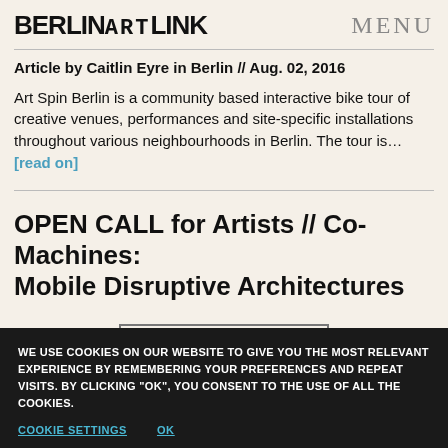BERLINARTLINK   MENU
Article by Caitlin Eyre in Berlin // Aug. 02, 2016
Art Spin Berlin is a community based interactive bike tour of creative venues, performances and site-specific installations throughout various neighbourhoods in Berlin. The tour is...[read on]
OPEN CALL for Artists // Co-Machines: Mobile Disruptive Architectures
[Figure (logo): CO-MACHINES logo in blocky outlined text]
WE USE COOKIES ON OUR WEBSITE TO GIVE YOU THE MOST RELEVANT EXPERIENCE BY REMEMBERING YOUR PREFERENCES AND REPEAT VISITS. BY CLICKING "OK", YOU CONSENT TO THE USE OF ALL THE COOKIES.
COOKIE SETTINGS   OK